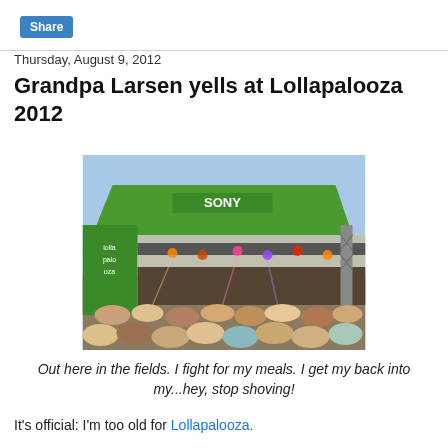[Figure (other): Blue Share button in top-left corner]
Thursday, August 9, 2012
Grandpa Larsen yells at Lollapalooza 2012
[Figure (photo): Concert stage at Lollapalooza with a large green Sony-branded canopy roof, stage lighting, and a large crowd of people in the foreground.]
Out here in the fields. I fight for my meals. I get my back into my...hey, stop shoving!
It's official: I'm too old for Lollapalooza.